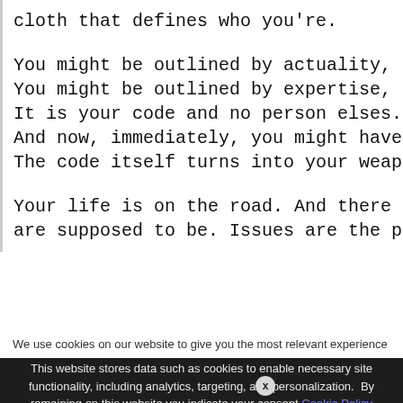cloth that defines who you're.

You might be outlined by actuality,
You might be outlined by expertise,
It is your code and no person elses.
And now, immediately, you might have
The code itself turns into your weap

Your life is on the road. And there
are supposed to be. Issues are the p
We use cookies on our website to give you the most relevant experience by remembering your preferences and repeat visits. By clicking "Accept All", you consent to the use of ALL the controlled consent.
This website stores data such as cookies to enable necessary site functionality, including analytics, targeting, and personalization. By remaining on this website you indicate your consent Cookie Policy